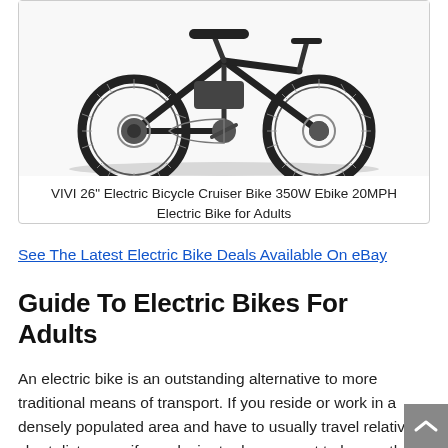[Figure (photo): VIVI electric bicycle cruiser bike product photo showing the bike from a side/angle view with large black tires and a dark frame against a white background]
VIVI 26" Electric Bicycle Cruiser Bike 350W Ebike 20MPH Electric Bike for Adults
See The Latest Electric Bike Deals Available On eBay
Guide To Electric Bikes For Adults
An electric bike is an outstanding alternative to more traditional means of transport. If you reside or work in a densely populated area and have to usually travel relatively short distances, if you desire to do your part to lessen the emission of greenhouse gasses and reduce international warming, or if you simply enjoy being